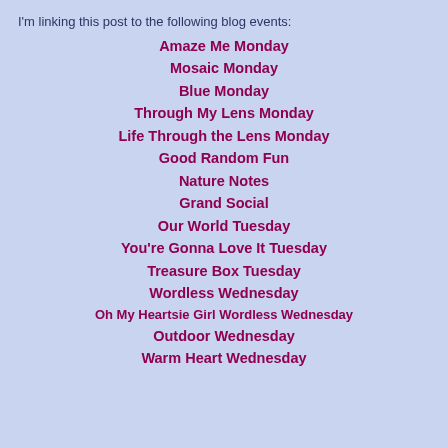I'm linking this post to the following blog events:
Amaze Me Monday
Mosaic Monday
Blue Monday
Through My Lens Monday
Life Through the Lens Monday
Good Random Fun
Nature Notes
Grand Social
Our World Tuesday
You're Gonna Love It Tuesday
Treasure Box Tuesday
Wordless Wednesday
Oh My Heartsie Girl Wordless Wednesday
Outdoor Wednesday
Warm Heart Wednesday